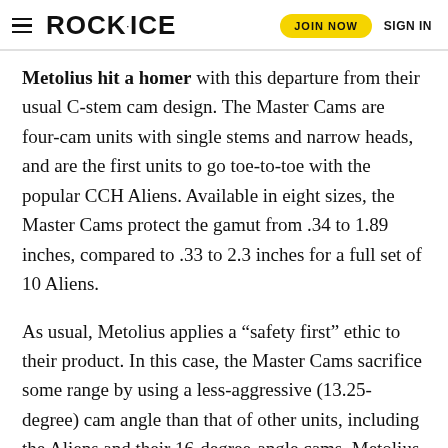ROCK·ICE  JOIN NOW  SIGN IN
Metolius hit a homer with this departure from their usual C-stem cam design. The Master Cams are four-cam units with single stems and narrow heads, and are the first units to go toe-to-toe with the popular CCH Aliens. Available in eight sizes, the Master Cams protect the gamut from .34 to 1.89 inches, compared to .33 to 2.3 inches for a full set of 10 Aliens.
As usual, Metolius applies a “safety first” ethic to their product. In this case, the Master Cams sacrifice some range by using a less-aggressive (13.25-degree) cam angle than that of other units, including the Aliens and their 16-degree-angle cams. Metolius says that their lower cam angle increases the outward force the cam exerts on the rock. Since this force is what actually gives the cam much of its grip, a force increase should result in greater holding power. Metolius declined to specify how much addition 🔒 heir cams apply.